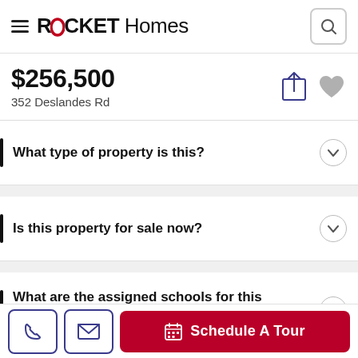ROCKET Homes
$256,500
352 Deslandes Rd
What type of property is this?
Is this property for sale now?
What are the assigned schools for this property?
Schedule A Tour